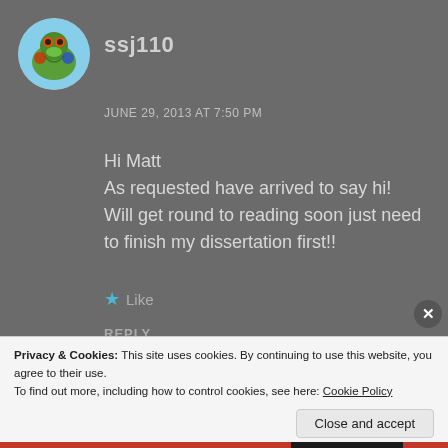[Figure (photo): Circular avatar image of a colorful frog/marble on blue background]
ssj110
JUNE 29, 2013 AT 7:50 PM
Hi Matt
As requested have arrived to say hi! Will get round to reading soon just need to finish my dissertation first!!
★ Like
REPLY
Privacy & Cookies: This site uses cookies. By continuing to use this website, you agree to their use.
To find out more, including how to control cookies, see here: Cookie Policy
Close and accept